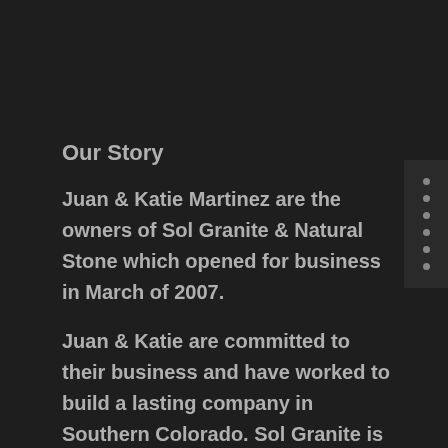Our Story
Juan & Katie Martinez are the owners of Sol Granite & Natural Stone which opened for business in March of 2007.
Juan & Katie are committed to their business and have worked to build a lasting company in Southern Colorado. Sol Granite is a forward-looking enterprise that is growing